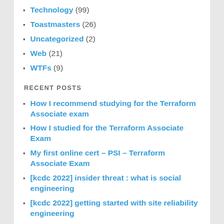Technology (99)
Toastmasters (26)
Uncategorized (2)
Web (21)
WTFs (9)
RECENT POSTS
How I recommend studying for the Terraform Associate exam
How I studied for the Terraform Associate Exam
My first online cert – PSI – Terraform Associate Exam
[kcdc 2022] insider threat : what is social engineering
[kcdc 2022] getting started with site reliability engineering
[kcdc 2022] diving into debugging spring boot applications
[kcdc 2022] 4 deadly sins of mentorship
[kcdc 2022] network fundamentals for developers
[kcdc 2022] lessons from reviewing a very big pull request
[kcdc 2022] level up with co-pilot